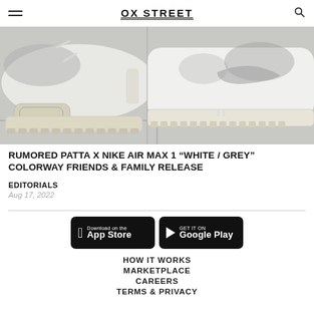OX STREET
[Figure (photo): Close-up photo of Nike Air Max 1 sneakers in white/grey colorway, showing the air unit sole and swoosh logo, placed on a tiled surface]
RUMORED PATTA X NIKE AIR MAX 1 “WHITE / GREY” COLORWAY FRIENDS & FAMILY RELEASE
EDITORIALS
Aug 17, 2022
[Figure (screenshot): App Store download button]
[Figure (screenshot): Google Play download button]
HOW IT WORKS
MARKETPLACE
CAREERS
TERMS & PRIVACY